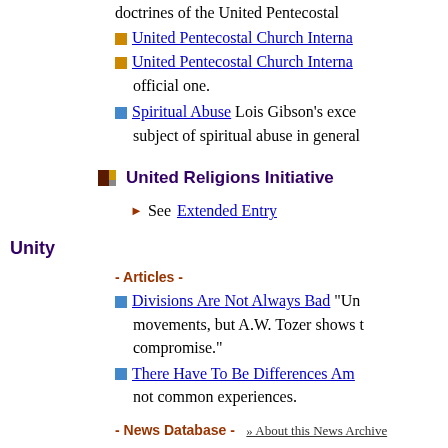doctrines of the United Pentecostal
United Pentecostal Church Interna
United Pentecostal Church Interna official one.
Spiritual Abuse Lois Gibson's exce subject of spiritual abuse in general
United Religions Initiative
See Extended Entry
Unity
- Articles -
Divisions Are Not Always Bad "Un movements, but A.W. Tozer shows compromise."
There Have To Be Differences Am not common experiences.
- News Database -  » About this News Archive